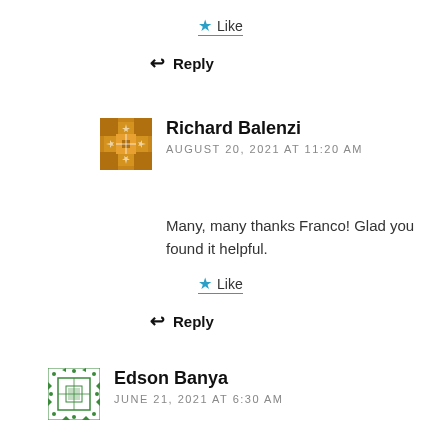Like
Reply
Richard Balenzi
AUGUST 20, 2021 AT 11:20 AM
Many, many thanks Franco! Glad you found it helpful.
Like
Reply
Edson Banya
JUNE 21, 2021 AT 6:30 AM